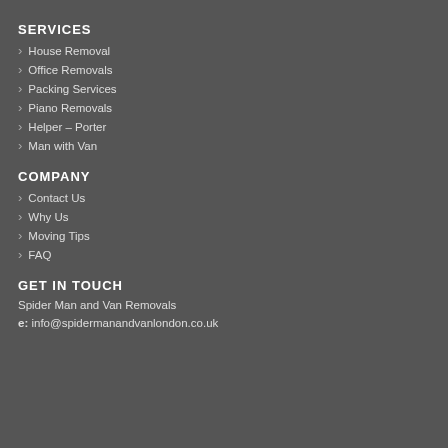SERVICES
House Removal
Office Removals
Packing Services
Piano Removals
Helper – Porter
Man with Van
COMPANY
Contact Us
Why Us
Moving Tips
FAQ
GET IN TOUCH
Spider Man and Van Removals
e: info@spidermanandvanlondon.co.uk